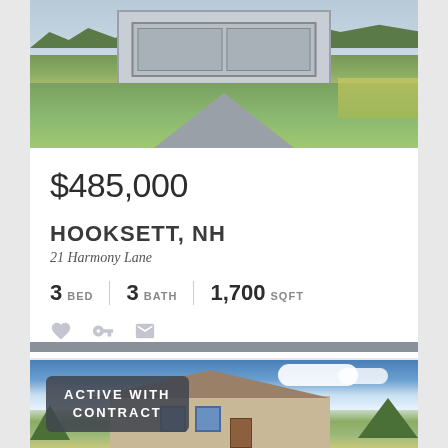[Figure (photo): Exterior photo of a house with gray siding/garage and paved driveway surrounded by green lawn]
$485,000
HOOKSETT, NH
21 Harmony Lane
3 BED | 3 BATH | 1,700 SQFT
[Figure (photo): Exterior photo of a large two-story brick/stone house with blue sky background, badge reading ACTIVE WITH CONTRACT]